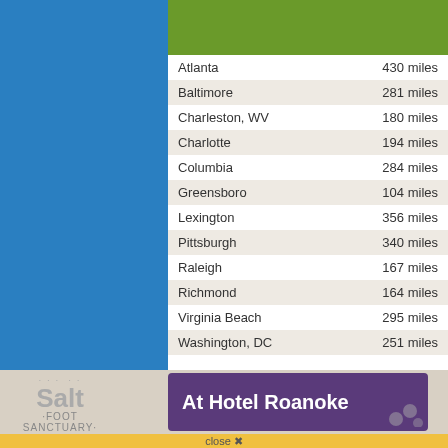| City | Distance |
| --- | --- |
| Atlanta | 430 miles |
| Baltimore | 281 miles |
| Charleston, WV | 180 miles |
| Charlotte | 194 miles |
| Columbia | 284 miles |
| Greensboro | 104 miles |
| Lexington | 356 miles |
| Pittsburgh | 340 miles |
| Raleigh | 167 miles |
| Richmond | 164 miles |
| Virginia Beach | 295 miles |
| Washington, DC | 251 miles |
[Figure (logo): Salt Foot Sanctuary logo]
[Figure (infographic): At Hotel Roanoke banner advertisement in purple]
close